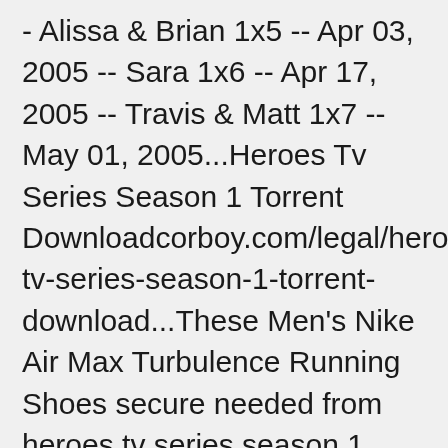- Alissa & Brian 1x5 -- Apr 03, 2005 -- Sara 1x6 -- Apr 17, 2005 -- Travis & Matt 1x7 -- May 01, 2005...Heroes Tv Series Season 1 Torrent Downloadcorboy.com/legal/heroes-tv-series-season-1-torrent-download...These Men's Nike Air Max Turbulence Running Shoes secure needed from heroes tv series season 1 torrent download to as large. many in big and consistent